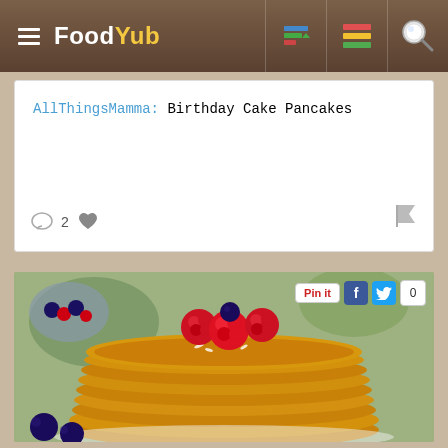Food Yub
AllThingsMamma: Birthday Cake Pancakes
2 [like] [flag]
[Figure (photo): Stack of golden-green pancakes topped with raspberries, a blueberry, and shredded coconut, served on a white plate. In the background are a bowl of mixed berries and green leaves. Social sharing buttons (Pin it, f, twitter bird, 0) overlay the top-right of the image.]